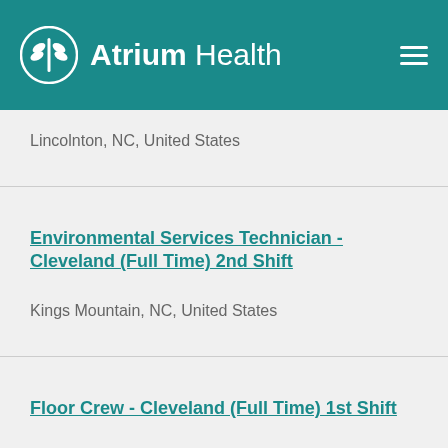Atrium Health
Lincolnton, NC, United States
Environmental Services Technician - Cleveland (Full Time) 2nd Shift
Kings Mountain, NC, United States
Floor Crew - Cleveland (Full Time) 1st Shift
Kings Mountain, NC, United States